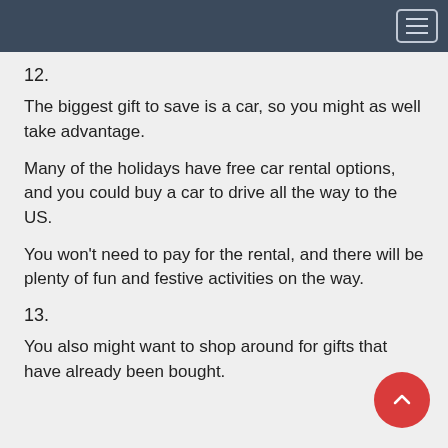12.
The biggest gift to save is a car, so you might as well take advantage.
Many of the holidays have free car rental options, and you could buy a car to drive all the way to the US.
You won’t need to pay for the rental, and there will be plenty of fun and festive activities on the way.
13.
You also might want to shop around for gifts that have already been bought.